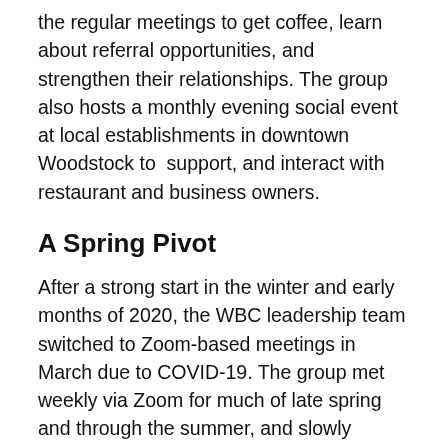the regular meetings to get coffee, learn about referral opportunities, and strengthen their relationships. The group also hosts a monthly evening social event at local establishments in downtown Woodstock to support, and interact with restaurant and business owners.
A Spring Pivot
After a strong start in the winter and early months of 2020, the WBC leadership team switched to Zoom-based meetings in March due to COVID-19. The group met weekly via Zoom for much of late spring and through the summer, and slowly reintroduced socially distanced, in-person meetings in the fall.
The group also reintroduced their evening socials this past fall, and has hosted a few outdoor events under the